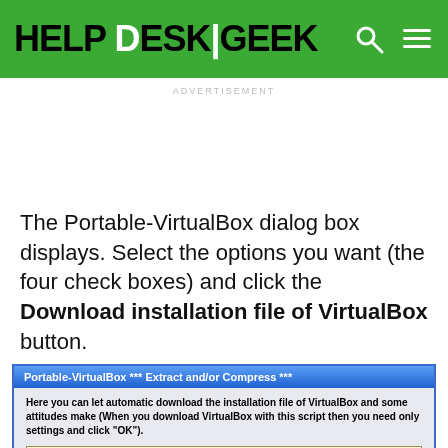HELP DESK GEEK
ADVERTISEMENT
The Portable-VirtualBox dialog box displays. Select the options you want (the four check boxes) and click the Download installation file of VirtualBox button.
[Figure (screenshot): Screenshot of Portable-VirtualBox Extract and/or Compress dialog with 'Download installation file of VirtualBox' button, OR option, and Path of installation file field with Search File button.]